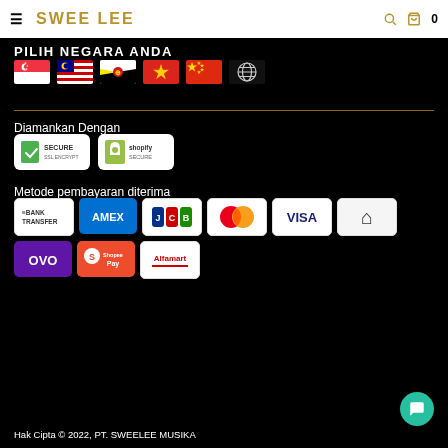SWEE LEE
PILIH NEGARA ANDA
[Figure (illustration): Row of country flags: Singapore, Malaysia, Brunei, Vietnam, China, and a globe/international icon]
Diamankan Dengan
[Figure (illustration): Two security badges: SSL Encrypt Secure and Shopify Secure]
Metode pembayaran diterima
[Figure (illustration): Payment method logos: Bank Transfer, AMEX, JCB, Mastercard, VISA, Arta, OVO, ShopeePay, Alfamart]
Hak Cipta © 2022, PT. SWEELEE MUSIKA